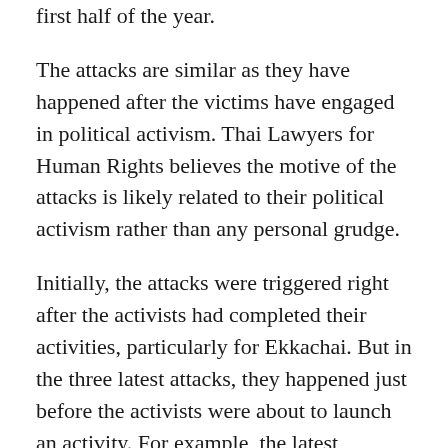first half of the year.
The attacks are similar as they have happened after the victims have engaged in political activism. Thai Lawyers for Human Rights believes the motive of the attacks is likely related to their political activism rather than any personal grudge.
Initially, the attacks were triggered right after the activists had completed their activities, particularly for Ekkachai. But in the three latest attacks, they happened just before the activists were about to launch an activity. For example, the latest ambush against Ekkachai in front of the Bangkok Criminal Court, which happened just after he announced he would campaign in front of the Vietnamese Embassy about the disappearance of Thai political self-exiles in